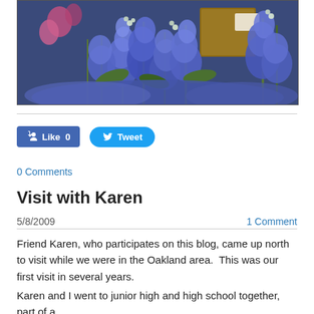[Figure (photo): Photo of purple/blue flowers (delphiniums) with some pink flowers and a wooden basket/crate in the background]
[Figure (infographic): Facebook Like button showing 'Like 0' and Twitter Tweet button]
0 Comments
Visit with Karen
5/8/2009
1 Comment
Friend Karen, who participates on this blog, came up north to visit while we were in the Oakland area.  This was our first visit in several years.
Karen and I went to junior high and high school together, part of a